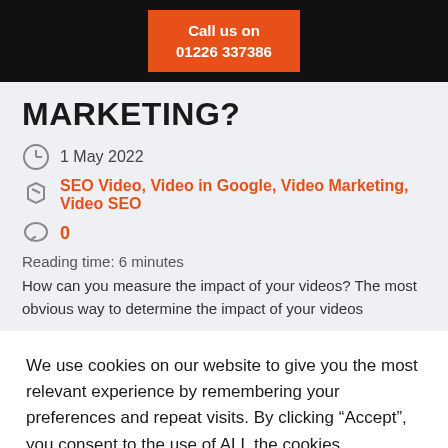Call us on 01226 337386
MARKETING?
1 May 2022
SEO Video, Video in Google, Video Marketing, Video SEO
0
Reading time: 6 minutes
How can you measure the impact of your videos? The most obvious way to determine the impact of your videos
We use cookies on our website to give you the most relevant experience by remembering your preferences and repeat visits. By clicking “Accept”, you consent to the use of ALL the cookies.
Cookie settings
ACCEPT